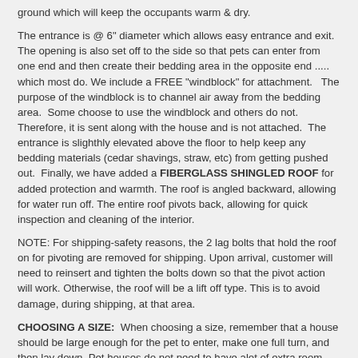ground which will keep the occupants warm & dry.
The entrance is @ 6" diameter which allows easy entrance and exit. The opening is also set off to the side so that pets can enter from one end and then create their bedding area in the opposite end ..... which most do. We include a FREE "windblock" for attachment.   The purpose of the windblock is to channel air away from the bedding area.  Some choose to use the windblock and others do not.  Therefore, it is sent along with the house and is not attached.  The entrance is slighthly elevated above the floor to help keep any bedding materials (cedar shavings, straw, etc) from getting pushed out.  Finally, we have added a FIBERGLASS SHINGLED ROOF for added protection and warmth. The roof is angled backward, allowing for water run off. The entire roof pivots back, allowing for quick inspection and cleaning of the interior.
NOTE: For shipping-safety reasons, the 2 lag bolts that hold the roof on for pivoting are removed for shipping. Upon arrival, customer will need to reinsert and tighten the bolts down so that the pivot action will work. Otherwise, the roof will be a lift off type. This is to avoid damage, during shipping, at that area.
CHOOSING A SIZE:  When choosing a size, remember that a house should be large enough for the pet to enter, make one full turn, and then lay down. Pet houses do not need to have alot of extra room. Too roomy of a house can be drafty. The purpose of a house is for the pet to retreat from the weather and have a place to stay warm.